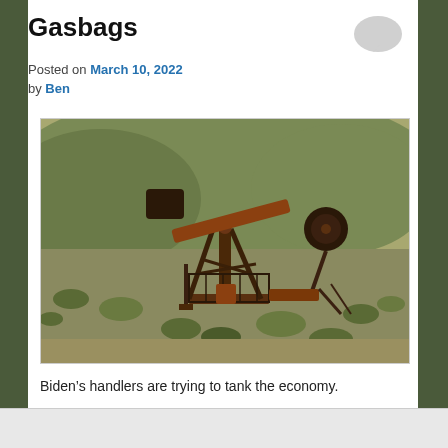Gasbags
Posted on March 10, 2022 by Ben
[Figure (photo): Photograph of a rusty oil pump jack in a desert hillside landscape with dry scrub brush and rocky terrain.]
Biden’s handlers are trying to tank the economy.
I can see no other explanation. And, by the way, they are doing a hell of a job at it.